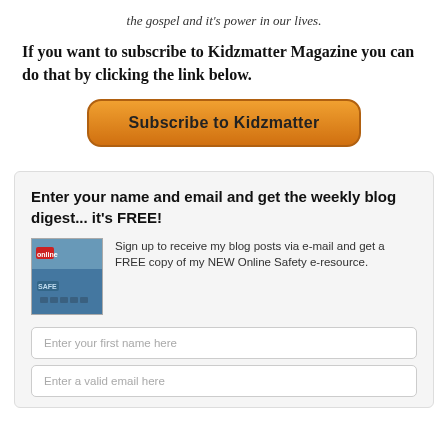the gospel and it's power in our lives.
If you want to subscribe to Kidzmatter Magazine you can do that by clicking the link below.
[Figure (other): Orange rounded button labeled 'Subscribe to Kidzmatter']
Enter your name and email and get the weekly blog digest... it's FREE!
[Figure (photo): Image of a keyboard with 'online' and 'safe' labels, representing online safety e-resource]
Sign up to receive my blog posts via e-mail and get a FREE copy of my NEW Online Safety e-resource.
Enter your first name here
Enter a valid email here